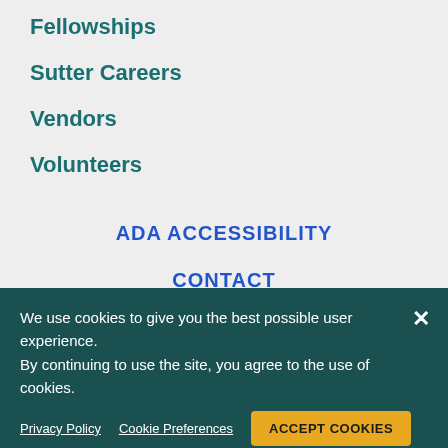Fellowships
Sutter Careers
Vendors
Volunteers
ADA ACCESSIBILITY
CONTACT
PRIVACY
We use cookies to give you the best possible user experience. By continuing to use the site, you agree to the use of cookies.
Privacy Policy   Cookie Preferences   ACCEPT COOKIES